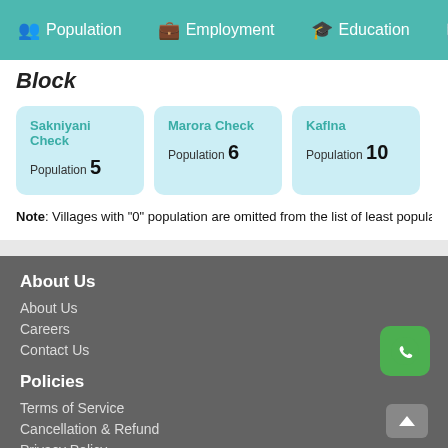Population  Employment  Education  He…
Block
Sakniyani Check — Population 5
Marora Check — Population 6
Kaflna — Population 10
Note: Villages with "0" population are omitted from the list of least populate…
About Us
About Us
Careers
Contact Us
Policies
Terms of Service
Cancellation & Refund
Privacy Policy